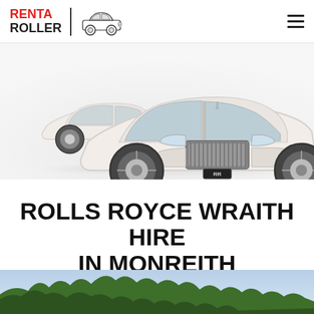RENT A ROLLER
[Figure (photo): Two white Rolls-Royce luxury cars photographed from the front on a white background, the one in the foreground showing the distinctive chrome grille with RR badge]
ROLLS ROYCE WRAITH HIRE IN MONREITH
[Figure (photo): Bottom portion of a landscape photo showing green trees against a light sky]